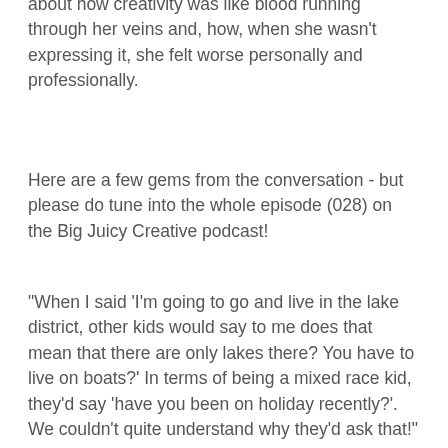about how creativity was like blood running through her veins and, how, when she wasn't expressing it, she felt worse personally and professionally.
Here are a few gems from the conversation - but please do tune into the whole episode (028) on the Big Juicy Creative podcast!
"When I said 'I'm going to go and live in the lake district, other kids would say to me does that mean that there are only lakes there? You have to live on boats?' In terms of being a mixed race kid, they'd say 'have you been on holiday recently?'. We couldn't quite understand why they'd ask that!"